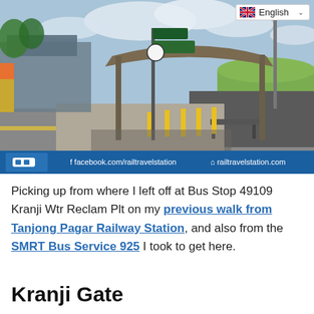[Figure (photo): Outdoor photo of a bus stop shelter with curved roof, yellow bollards, a bench, and road signs. Blue banner at bottom shows Rail Travel Station logo, facebook.com/railtravelstation, and railtravelstation.com. A language selector badge showing English with UK flag is in the top-right corner.]
Picking up from where I left off at Bus Stop 49109 Kranji Wtr Reclam Plt on my previous walk from Tanjong Pagar Railway Station, and also from the SMRT Bus Service 925 I took to get here.
Kranji Gate